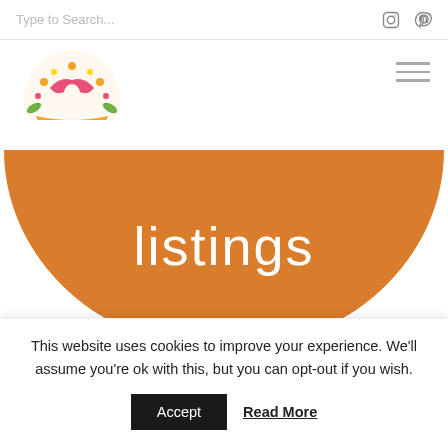Type to Search...
[Figure (logo): Tailor Made Blog logo with illustrated floral bra design and decorative banner]
[Figure (illustration): Orange semicircle/half-circle shape with the word 'listings' in white text overlaid]
This website uses cookies to improve your experience. We'll assume you're ok with this, but you can opt-out if you wish.
Accept   Read More